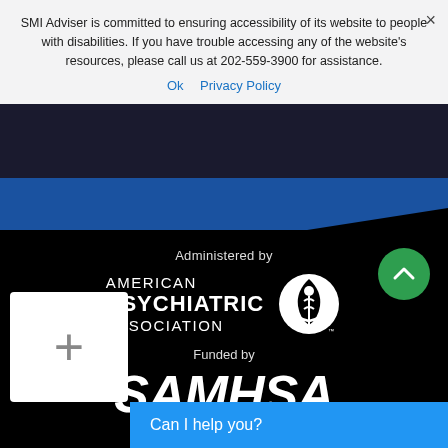SMI Adviser is committed to ensuring accessibility of its website to people with disabilities. If you have trouble accessing any of the website's resources, please call us at 202-559-3900 for assistance.
Ok  Privacy Policy
[Figure (logo): American Psychiatric Association logo with caduceus-style icon]
Administered by
AMERICAN PSYCHIATRIC ASSOCIATION
Funded by
[Figure (logo): SAMHSA - Substance Abuse and Mental Health Services Administration logo]
SAMHSA
Substance Abuse and Mental Health Services Administration
ABOUT SMI ADVISER
Mis...
Can I help you?